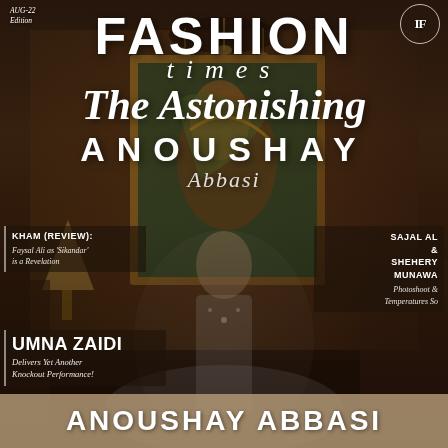AUG-22 Edition
FASHION times
[Figure (photo): Magazine cover photo of Anoushay Abbasi seated in a bridal white embroidered outfit with jewellery, against an ornate interior with chandelier, colorful painting and warm brown decor.]
The Astonishing ANOUSHAY Abbasi
KHAM (REVIEW): Faysal Ali as 'Sikandar' is a Revelation
SAJAL AL & SHEHERY MUNAWA Photoshoot Temperatures So
UMNA ZAIDI Delivers Yet Another Knockout Performance!
ANOUSHAY ABBASI